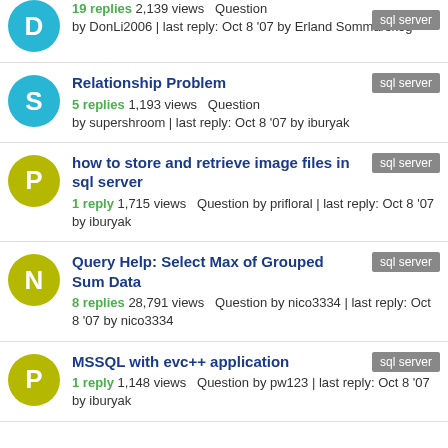19 replies 2,139 views  Question by DonLi2006 | last reply: Oct 8 '07 by Erland Sommarskog [sql server]
Relationship Problem
5 replies 1,193 views  Question by supershroom | last reply: Oct 8 '07 by iburyak [sql server]
how to store and retrieve image files in sql server
1 reply 1,715 views  Question by prifloral | last reply: Oct 8 '07 by iburyak [sql server]
Query Help: Select Max of Grouped Sum Data
8 replies 28,791 views  Question by nico3334 | last reply: Oct 8 '07 by nico3334 [sql server]
MSSQL with evc++ application
1 reply 1,148 views  Question by pw123 | last reply: Oct 8 '07 by iburyak [sql server]